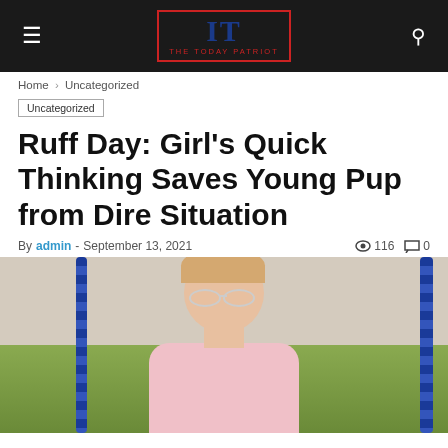THE TODAY PATRIOT
Home › Uncategorized
Uncategorized
Ruff Day: Girl's Quick Thinking Saves Young Pup from Dire Situation
By admin - September 13, 2021  116  0
[Figure (photo): A young blonde girl wearing glasses sitting on a swing, photographed outdoors with green grass and a wall in the background. Blue swing ropes visible on both sides.]